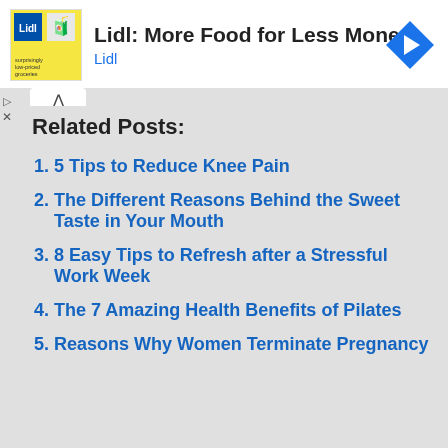[Figure (other): Lidl advertisement banner with logo, text 'Lidl: More Food for Less Money', subtitle 'Lidl', and a blue navigation arrow icon on the right]
Related Posts:
5 Tips to Reduce Knee Pain
The Different Reasons Behind the Sweet Taste in Your Mouth
8 Easy Tips to Refresh after a Stressful Work Week
The 7 Amazing Health Benefits of Pilates
Reasons Why Women Terminate Pregnancy